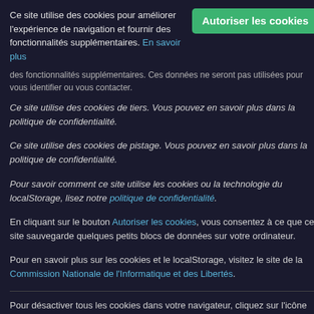[Figure (screenshot): Cookie consent overlay dialog on a dark background website. Contains a top notice bar with 'En savoir plus' link and 'Autoriser les cookies' green button, followed by detailed cookie usage text in French with hyperlinks. Background shows partially visible website content and 'Sharing You' text in teal.]
Ce site utilise des cookies pour améliorer l'expérience de navigation et fournir des fonctionnalités supplémentaires. En savoir plus
des fonctionnalités supplémentaires. Ces données ne seront pas utilisées pour vous identifier ou vous contacter.
Ce site utilise des cookies de tiers. Vous pouvez en savoir plus dans la politique de confidentialité.
Ce site utilise des cookies de pistage. Vous pouvez en savoir plus dans la politique de confidentialité.
Pour savoir comment ce site utilise les cookies ou la technologie du localStorage, lisez notre politique de confidentialité.
En cliquant sur le bouton Autoriser les cookies, vous consentez à ce que ce site sauvegarde quelques petits blocs de données sur votre ordinateur.
Pour en savoir plus sur les cookies et le localStorage, visitez le site de la Commission Nationale de l'Informatique et des Libertés.
Pour désactiver tous les cookies dans votre navigateur, cliquez sur l'icône
Sharing You